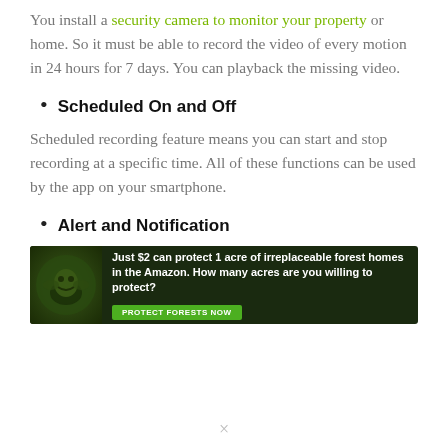You install a security camera to monitor your property or home. So it must be able to record the video of every motion in 24 hours for 7 days. You can playback the missing video.
Scheduled On and Off
Scheduled recording feature means you can start and stop recording at a specific time. All of these functions can be used by the app on your smartphone.
Alert and Notification
[Figure (infographic): Advertisement banner with dark green forest background and an animal image on the left. Text reads: Just $2 can protect 1 acre of irreplaceable forest homes in the Amazon. How many acres are you willing to protect? Button: PROTECT FORESTS NOW]
×